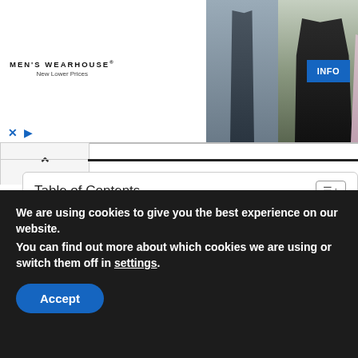[Figure (photo): Men's Wearhouse advertisement banner with couple in formal wear and male model in grey suit, with blue INFO button]
Table of Contents
How do I check my Tracfone Minutes balance?
We are using cookies to give you the best experience on our website. You can find out more about which cookies we are using or switch them off in settings.
Accept